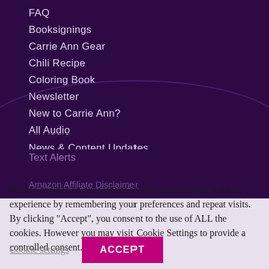FAQ
Booksignings
Carrie Ann Gear
Chili Recipe
Coloring Book
Newsletter
New to Carrie Ann?
All Audio
News & Content Updates
Text Alerts
We use cookies on our website to give you the most relevant experience by remembering your preferences and repeat visits. By clicking “Accept”, you consent to the use of ALL the cookies. However you may visit Cookie Settings to provide a controlled consent.
Cookie settings
ACCEPT
Amazon Affiliate Disclaimer